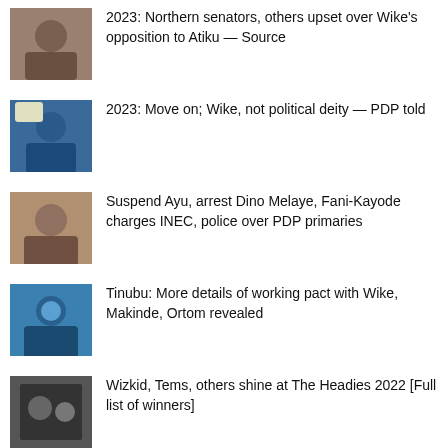2023: Northern senators, others upset over Wike's opposition to Atiku — Source
2023: Move on; Wike, not political deity — PDP told
Suspend Ayu, arrest Dino Melaye, Fani-Kayode charges INEC, police over PDP primaries
Tinubu: More details of working pact with Wike, Makinde, Ortom revealed
Wizkid, Tems, others shine at The Headies 2022 [Full list of winners]
MOST COMMENTED